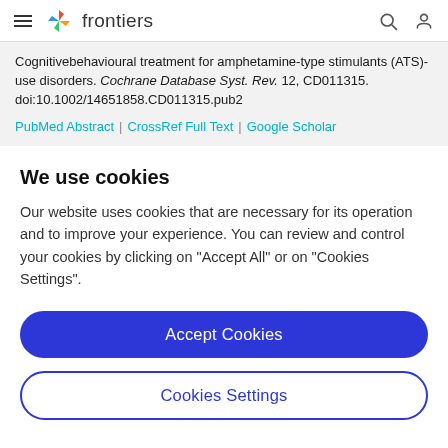frontiers (navigation bar with hamburger menu, logo, search and user icons)
Cognitivebehavioural treatment for amphetamine-type stimulants (ATS)-use disorders. Cochrane Database Syst. Rev. 12, CD011315. doi:10.1002/14651858.CD011315.pub2
PubMed Abstract | CrossRef Full Text | Google Scholar
We use cookies
Our website uses cookies that are necessary for its operation and to improve your experience. You can review and control your cookies by clicking on "Accept All" or on "Cookies Settings".
Accept Cookies
Cookies Settings